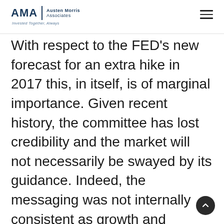AMA | Austen Morris Associates — Invested Together, Always
With respect to the FED's new forecast for an extra hike in 2017 this, in itself, is of marginal importance. Given recent history, the committee has lost credibility and the market will not necessarily be swayed by its guidance. Indeed, the messaging was not internally consistent as growth and inflation forecasts were little changed. Moreover,